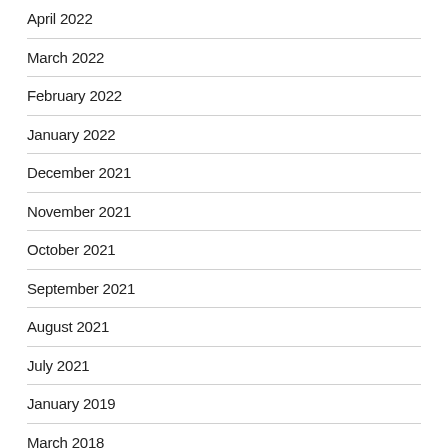April 2022
March 2022
February 2022
January 2022
December 2021
November 2021
October 2021
September 2021
August 2021
July 2021
January 2019
March 2018